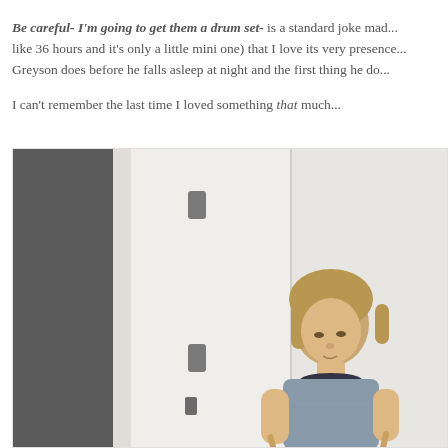Be careful- I'm going to get them a drum set- is a standard joke mad... like 36 hours and it's only a little mini one) that I love its very presence... Greyson does before he falls asleep at night and the first thing he do...
I can't remember the last time I loved something that much...
[Figure (photo): A young boy with medium-length blonde hair wearing a grey t-shirt, looking down, appearing to play drums with drumsticks. Background shows a white wall and a closet door with grey hardware.]